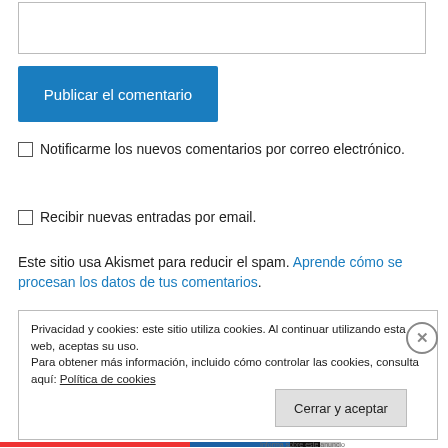[Figure (screenshot): Text input box at top of page]
Publicar el comentario
Notificarme los nuevos comentarios por correo electrónico.
Recibir nuevas entradas por email.
Este sitio usa Akismet para reducir el spam. Aprende cómo se procesan los datos de tus comentarios.
Privacidad y cookies: este sitio utiliza cookies. Al continuar utilizando esta web, aceptas su uso. Para obtener más información, incluido cómo controlar las cookies, consulta aquí: Política de cookies
Cerrar y aceptar
Informa sobre este anuncio